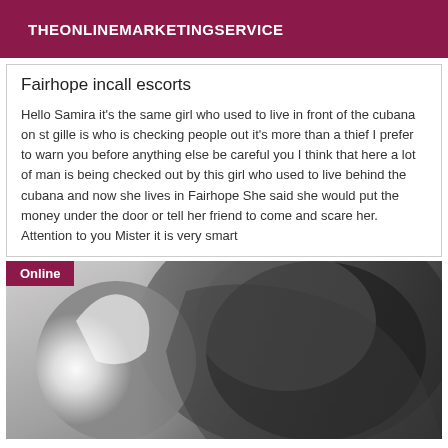THEONLINEMARKETINGSERVICE
Fairhope incall escorts
Hello Samira it's the same girl who used to live in front of the cubana on st gille is who is checking people out it's more than a thief I prefer to warn you before anything else be careful you I think that here a lot of man is being checked out by this girl who used to live behind the cubana and now she lives in Fairhope She said she would put the money under the door or tell her friend to come and scare her. Attention to you Mister it is very smart
[Figure (photo): Black and white close-up photo of a person with an 'Online' badge overlay in the top-left corner]